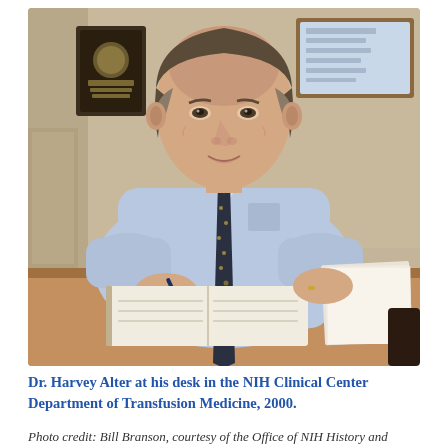[Figure (photo): Dr. Harvey Alter seated at his desk in the NIH Clinical Center Department of Transfusion Medicine, writing with a pen on an open book/notebook. He is wearing a light blue dress shirt and a dark patterned tie. Plaques and awards are visible on the wall behind him. The photo is taken in 2000.]
Dr. Harvey Alter at his desk in the NIH Clinical Center Department of Transfusion Medicine, 2000.
Photo credit: Bill Branson, courtesy of the Office of NIH History and